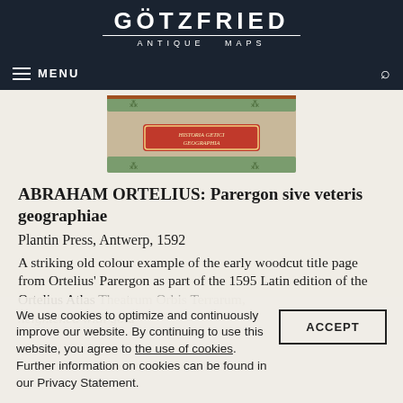GÖTZFRIED ANTIQUE MAPS
ABRAHAM ORTELIUS: Parergon sive veteris geographiae
Plantin Press, Antwerp, 1592
A striking old colour example of the early woodcut title page from Ortelius' Parergon as part of the 1595 Latin edition of the Ortelius Atlas Theatrum Orbis Terrarum, heightened with gold, one piece of
We use cookies to optimize and continuously improve our website. By continuing to use this website, you agree to the use of cookies. Further information on cookies can be found in our Privacy Statement.
[Figure (photo): Book/atlas cover image showing 'Historia Getici Geographia' title cartouche, decorated with red and gold ornamental border]